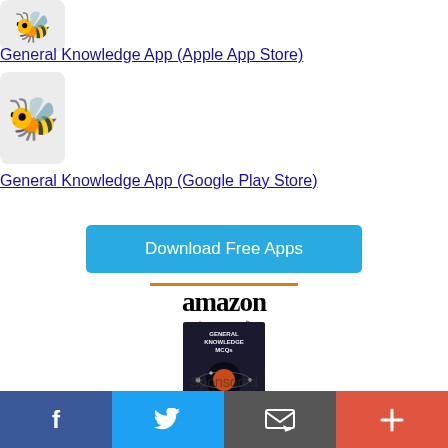[Figure (illustration): Bee emoji icon for General Knowledge App (Apple App Store)]
General Knowledge App (Apple App Store)
[Figure (illustration): Bee emoji icon for General Knowledge App (Google Play Store)]
General Knowledge App (Google Play Store)
Download Free Apps
[Figure (logo): Amazon logo with orange bar above and arrow smile below]
[Figure (photo): Book cover: General Knowledge MCQs with solar system image]
[Figure (infographic): Social share bar with Facebook, Twitter, Email, and More buttons]